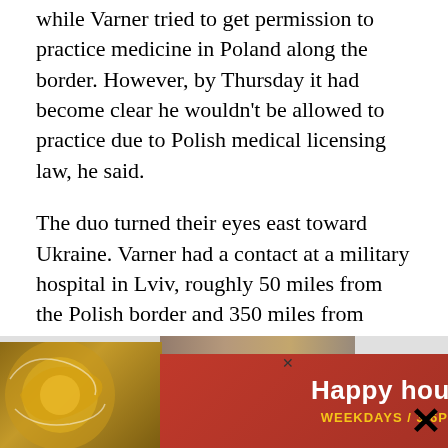while Varner tried to get permission to practice medicine in Poland along the border. However, by Thursday it had become clear he wouldn't be allowed to practice due to Polish medical licensing law, he said.
The duo turned their eyes east toward Ukraine. Varner had a contact at a military hospital in Lviv, roughly 50 miles from the Polish border and 350 miles from Kyiv, the capital city that has seen some of the heaviest fighting. They could use the help, said administrators at the Lviv Clinical Municipal Hospital. So the duo drove the van, full of medical supplies, the 250 miles from Warsaw to Lviv.
[Figure (other): Advertisement banner: 'Happy hour is back! WEEKDAYS / 3-6PM GET DETAILS' with red background, decorative golden circular motif on left, and a small photo/image strip at top. Has close buttons (X).]